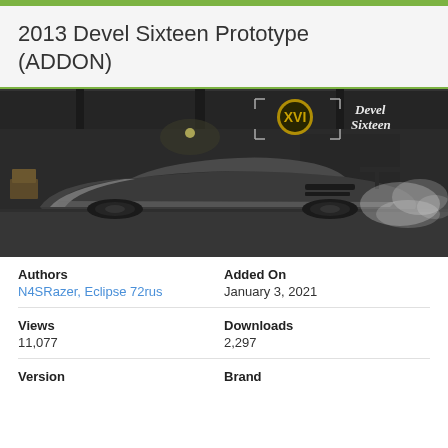2013 Devel Sixteen Prototype (ADDON)
[Figure (photo): Dark sports car (Devel Sixteen) parked in a dimly lit industrial garage, with 'Devel Sixteen' branding visible in the upper right, smoke behind the vehicle]
| Authors | Added On |
| N4SRazer, Eclipse 72rus | January 3, 2021 |
| Views | Downloads |
| 11,077 | 2,297 |
| Version | Brand |